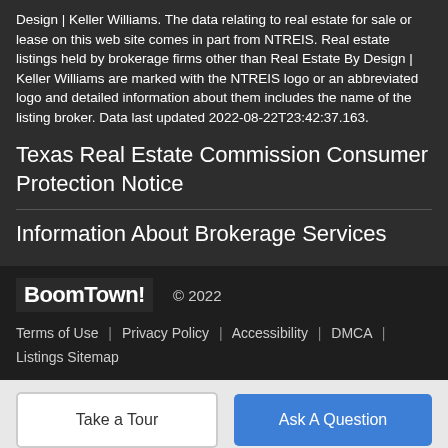Design | Keller Williams. The data relating to real estate for sale or lease on this web site comes in part from NTREIS. Real estate listings held by brokerage firms other than Real Estate By Design | Keller Williams are marked with the NTREIS logo or an abbreviated logo and detailed information about them includes the name of the listing broker. Data last updated 2022-08-22T23:42:37.163.
Texas Real Estate Commission Consumer Protection Notice
Information About Brokerage Services
BoomTown! © 2022
Terms of Use | Privacy Policy | Accessibility | DMCA | Listings Sitemap
Take a Tour
Ask A Question